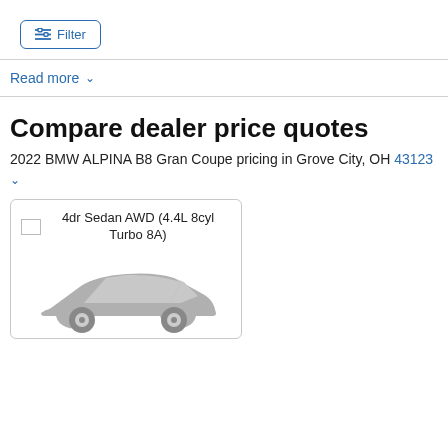[Figure (other): Filter button with filter icon and text]
Read more ∨
Compare dealer price quotes
2022 BMW ALPINA B8 Gran Coupe pricing in Grove City, OH 43123 ∨
[Figure (illustration): Car card showing 4dr Sedan AWD (4.4L 8cyl Turbo 8A) with a gray sedan silhouette illustration]